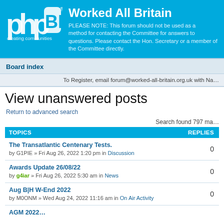Worked All Britain — phpBB forum header. PLEASE NOTE: This forum should not be used as a method for contacting the Committee for answers to questions. Please contact the Hon. Secretary or a member of the Committee directly.
Board index
To Register, email forum@worked-all-britain.org.uk with Na…
View unanswered posts
Return to advanced search
Search found 797 ma…
| TOPICS | REPLIES |
| --- | --- |
| The Transatlantic Centenary Tests.
by G1PIE » Fri Aug 26, 2022 1:20 pm in Discussion | 0 |
| Awards Update 26/08/22
by g4iar » Fri Aug 26, 2022 5:30 am in News | 0 |
| Aug B|H W-End 2022
by M0ONM » Wed Aug 24, 2022 11:16 am in On Air Activity | 0 |
| AGM 2022… |  |